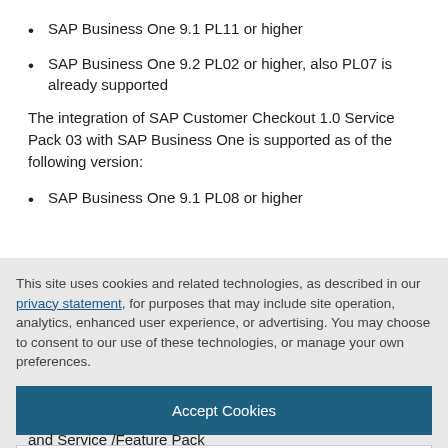SAP Business One 9.1 PL11 or higher
SAP Business One 9.2 PL02 or higher, also PL07 is already supported
The integration of SAP Customer Checkout 1.0 Service Pack 03 with SAP Business One is supported as of the following version:
SAP Business One 9.1 PL08 or higher
This site uses cookies and related technologies, as described in our privacy statement, for purposes that may include site operation, analytics, enhanced user experience, or advertising. You may choose to consent to our use of these technologies, or manage your own preferences.
Accept Cookies
More Information
Privacy Policy | Powered by: TrustArc
and Service /Feature Pack